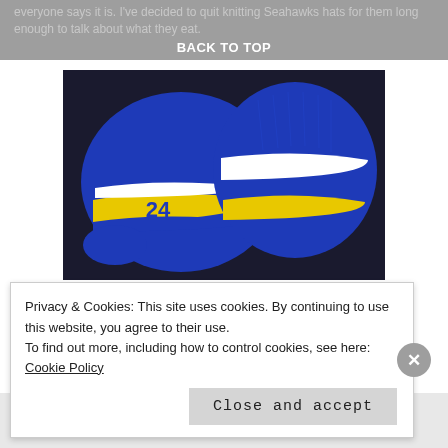everyone says it is. I've decided to quit knitting Seahawks hats for them long enough to talk about what they eat.
BACK TO TOP
[Figure (photo): Two hand-knitted blue and yellow/white Seahawks-style beanies displayed on a dark surface. The left hat has a yellow band with the number 24 in blue.]
I couldn't ask for a more well fed 19 month old granddaughter. I feel so lucky to have children who
Privacy & Cookies: This site uses cookies. By continuing to use this website, you agree to their use.
To find out more, including how to control cookies, see here: Cookie Policy
Close and accept